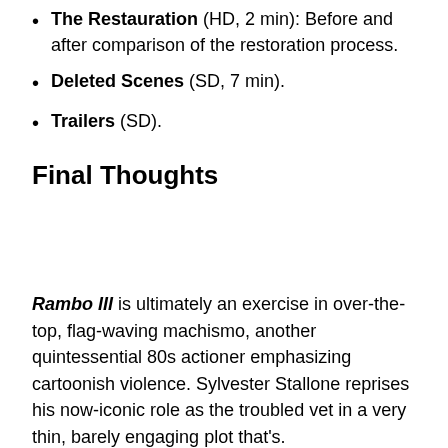The Restauration (HD, 2 min): Before and after comparison of the restoration process.
Deleted Scenes (SD, 7 min).
Trailers (SD).
Final Thoughts
Rambo III is ultimately an exercise in over-the-top, flag-waving machismo, another quintessential 80s actioner emphasizing cartoonish violence. Sylvester Stallone reprises his now-iconic role as the troubled vet in a very thin, barely engaging plot that's.